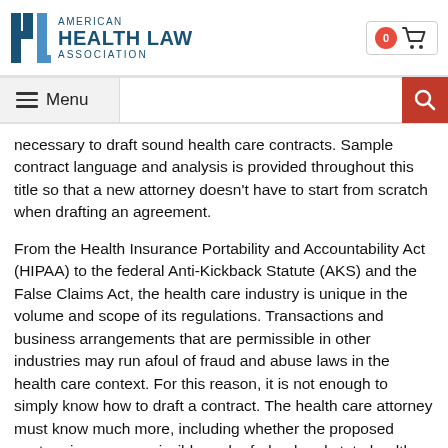[Figure (logo): American Health Law Association logo with stylized H-L lettermark in dark blue and text 'AMERICAN HEALTH LAW ASSOCIATION']
Menu [search bar] [search button]
necessary to draft sound health care contracts. Sample contract language and analysis is provided throughout this title so that a new attorney doesn't have to start from scratch when drafting an agreement.
From the Health Insurance Portability and Accountability Act (HIPAA) to the federal Anti-Kickback Statute (AKS) and the False Claims Act, the health care industry is unique in the volume and scope of its regulations. Transactions and business arrangements that are permissible in other industries may run afoul of fraud and abuse laws in the health care context. For this reason, it is not enough to simply know how to draft a contract. The health care attorney must know much more, including whether the proposed venture is even permissible under federal and state health care laws. If